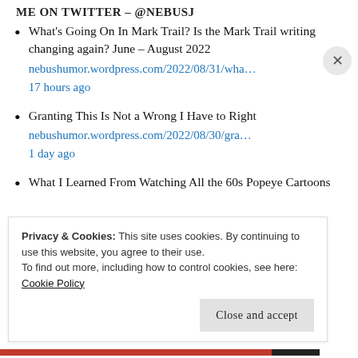ME ON TWITTER – @NEBUSJ
What's Going On In Mark Trail? Is the Mark Trail writing changing again? June – August 2022
nebushumor.wordpress.com/2022/08/31/wha…
17 hours ago
Granting This Is Not a Wrong I Have to Right
nebushumor.wordpress.com/2022/08/30/gra…
1 day ago
What I Learned From Watching All the 60s Popeye Cartoons
Privacy & Cookies: This site uses cookies. By continuing to use this website, you agree to their use.
To find out more, including how to control cookies, see here: Cookie Policy
Close and accept